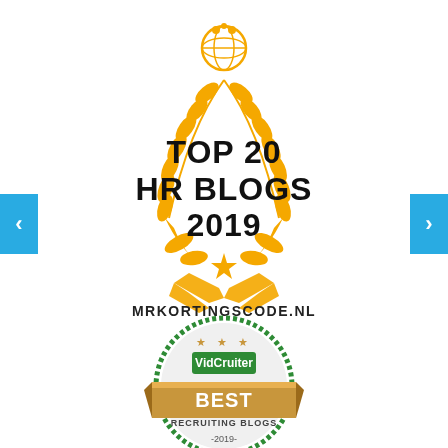[Figure (illustration): Top 20 HR Blogs 2019 award badge with golden laurel wreath, globe icon on top, star at bottom, and text MRKORTINGSCODE.NL below]
[Figure (illustration): VidCruiter Best Recruiting Blogs 2019 badge - circular green border with gold ribbon banner]